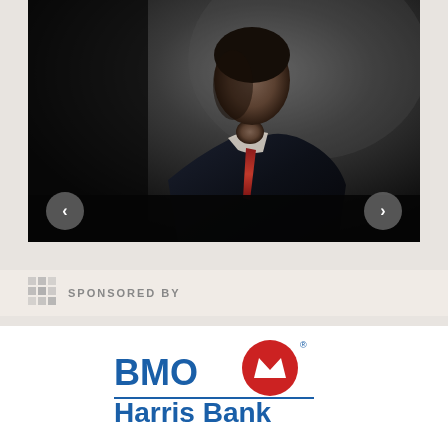[Figure (photo): Professional portrait photo of a man in a dark suit and red tie, photographed against a dark grey background. Navigation arrows (< and >) are visible at the bottom corners of the image.]
SPONSORED BY
[Figure (logo): BMO Harris Bank logo: 'BMO' in blue text next to a red circle with a white crown-like symbol, with 'Harris Bank' in blue text below, underlined by a blue horizontal line.]